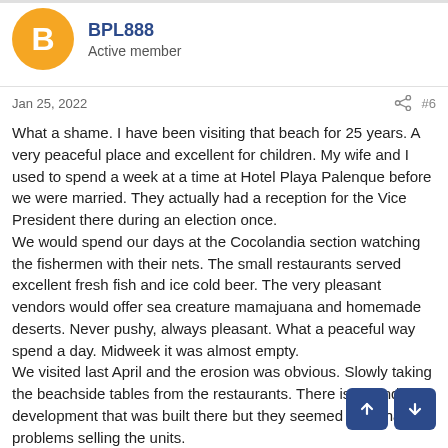[Figure (other): User avatar: orange circle with white letter B]
BPL888
Active member
Jan 25, 2022   #6
What a shame. I have been visiting that beach for 25 years. A very peaceful place and excellent for children. My wife and I used to spend a week at a time at Hotel Playa Palenque before we were married. They actually had a reception for the Vice President there during an election once.
We would spend our days at the Cocolandia section watching the fishermen with their nets. The small restaurants served excellent fresh fish and ice cold beer. The very pleasant vendors would offer sea creature mamajuana and homemade deserts. Never pushy, always pleasant. What a peaceful way spend a day. Midweek it was almost empty.
We visited last April and the erosion was obvious. Slowly taking the beachside tables from the restaurants. There is a condo development that was built there but they seemed to be having problems selling the units.
They have been talking about transplanting sand to save the beach